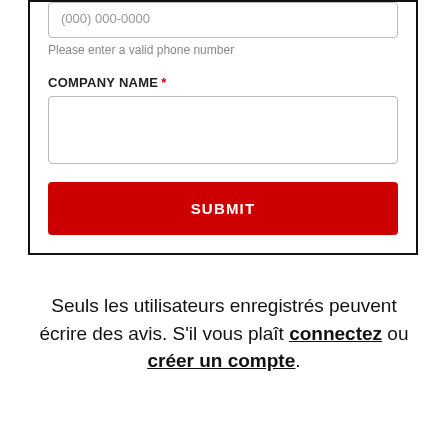(000) 000-0000
Please enter a valid phone number
COMPANY NAME *
SUBMIT
Seuls les utilisateurs enregistrés peuvent écrire des avis. S'il vous plaît connectez ou créer un compte.